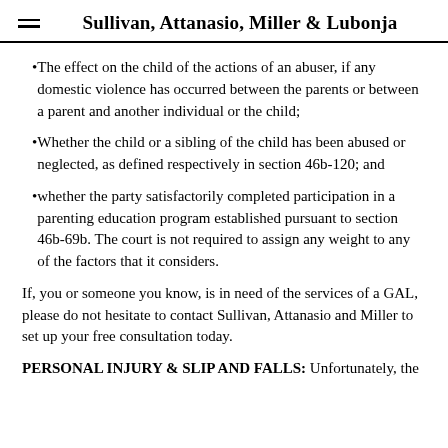Sullivan, Attanasio, Miller & Lubonja
The effect on the child of the actions of an abuser, if any domestic violence has occurred between the parents or between a parent and another individual or the child;
Whether the child or a sibling of the child has been abused or neglected, as defined respectively in section 46b-120; and
whether the party satisfactorily completed participation in a parenting education program established pursuant to section 46b-69b. The court is not required to assign any weight to any of the factors that it considers.
If, you or someone you know, is in need of the services of a GAL, please do not hesitate to contact Sullivan, Attanasio and Miller to set up your free consultation today.
PERSONAL INJURY & SLIP AND FALLS: Unfortunately, the